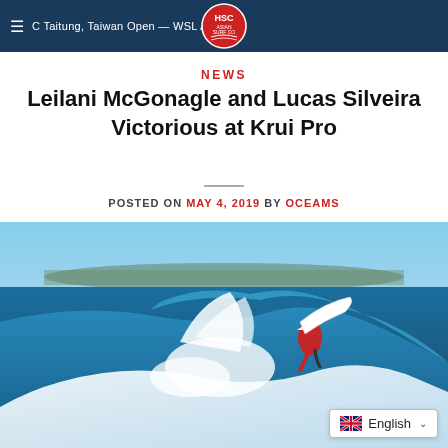HSC Taitung, Taiwan Open — WSL Asia
NEWS
Leilani McGonagle and Lucas Silveira Victorious at Krui Pro
POSTED ON MAY 4, 2019 BY OCEAMS
[Figure (photo): A surfer wearing a red outfit performing a maneuver on a large ocean wave, with a white surfboard visible. Blue ocean and hazy coastline in the background.]
English